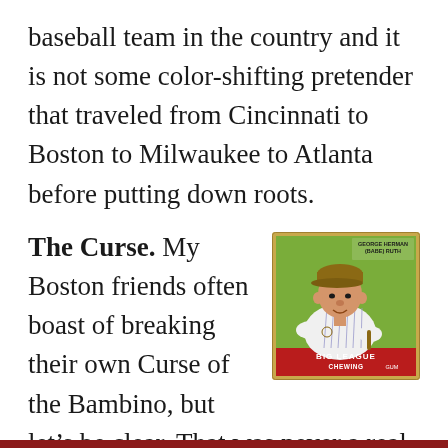baseball team in the country and it is not some color-shifting pretender that traveled from Cincinnati to Boston to Milwaukee to Atlanta before putting down roots.
The Curse. My Boston friends often boast of breaking their own Curse of the Bambino, but let's be clear. That was never a real curse. Babe Ruth (the “Bambino”) never cursed the
[Figure (illustration): Vintage Babe Ruth Big League Chewing Gum baseball card showing George Herman (Babe) Ruth in a pinstripe uniform against a green background, with red bottom banner reading BIG LEAGUE CHEWING GUM]